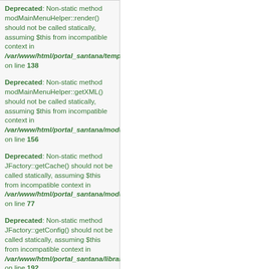Deprecated: Non-static method modMainMenuHelper::render() should not be called statically, assuming $this from incompatible context in /var/www/html/portal_santana/templates/ifsul/html/mod_mainmenu/default.php on line 138
Deprecated: Non-static method modMainMenuHelper::getXML() should not be called statically, assuming $this from incompatible context in /var/www/html/portal_santana/modules/mod_mainmenu/helper.php on line 156
Deprecated: Non-static method JFactory::getCache() should not be called statically, assuming $this from incompatible context in /var/www/html/portal_santana/modules/mod_mainmenu/helper.php on line 77
Deprecated: Non-static method JFactory::getConfig() should not be called statically, assuming $this from incompatible context in /var/www/html/portal_santana/libraries/joomla/factory.php on line 192
Strict Standards: Non-static method JLoader::import() ...